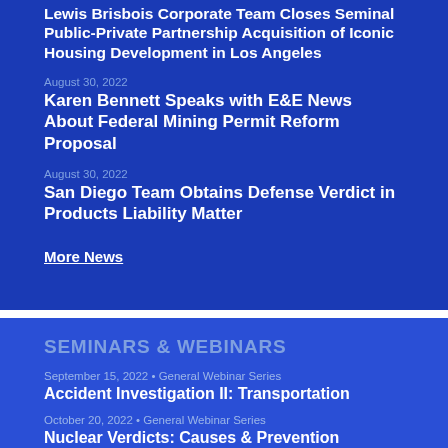Lewis Brisbois Corporate Team Closes Seminal Public-Private Partnership Acquisition of Iconic Housing Development in Los Angeles
August 30, 2022
Karen Bennett Speaks with E&E News About Federal Mining Permit Reform Proposal
August 30, 2022
San Diego Team Obtains Defense Verdict in Products Liability Matter
More News
SEMINARS & WEBINARS
September 15, 2022 • General Webinar Series
Accident Investigation II: Transportation
October 20, 2022 • General Webinar Series
Nuclear Verdicts: Causes & Prevention